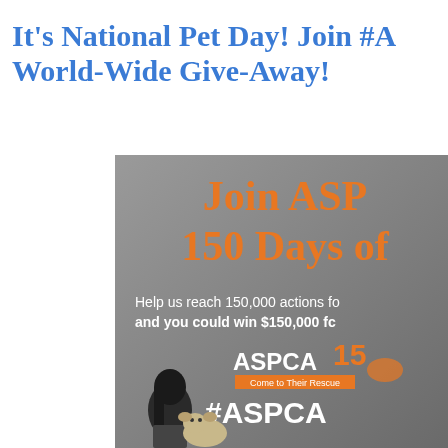It's National Pet Day! Join #ASPCA World-Wide Give-Away!
[Figure (illustration): ASPCA promotional advertisement banner with gray background showing text 'Join ASPCA 150 Days of...' in orange, 'Help us reach 150,000 actions for animals and you could win $150,000 fo...' in white, ASPCA logo with 'Come to Their Rescue' tagline in orange bar, '#ASPCA' hashtag in white, and a woman with long dark hair and a fluffy dog at the bottom left.]